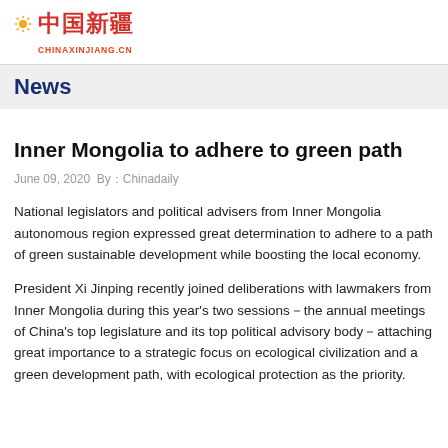中国新疆 CHINAXINJIANG.CN
News
Inner Mongolia to adhere to green path
June 09, 2020  By：Chinadaily
National legislators and political advisers from Inner Mongolia autonomous region expressed great determination to adhere to a path of green sustainable development while boosting the local economy.
President Xi Jinping recently joined deliberations with lawmakers from Inner Mongolia during this year's two sessions－the annual meetings of China's top legislature and its top political advisory body－attaching great importance to a strategic focus on ecological civilization and a green development path, with ecological protection as the priority.